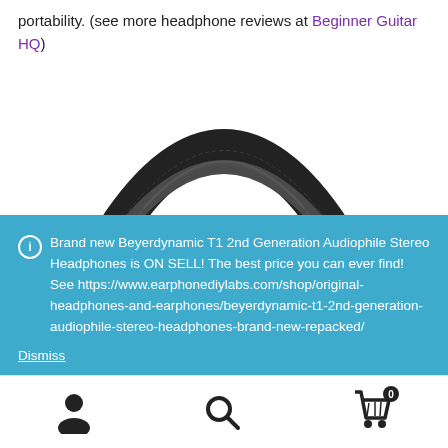portability. (see more headphone reviews at Beginner Guitar HQ)
[Figure (photo): Top view of a headphone headband, dark grey/black padded arc shape on white background]
Brand new Beyerdynamic T1 2nd Generation Audiophile Stereo Headphones is ON SELL! The best price you can ever find! See https://www.earphonediylabs.com/shop/original-headphones-and-earphones/beyerdynamic-t1-2nd-generation-audiophile-stereo-headphones-brand-new-repacked/ Dismiss
[Figure (illustration): Bottom navigation bar with person/account icon, search magnifying glass icon, and shopping cart icon with badge showing 0]